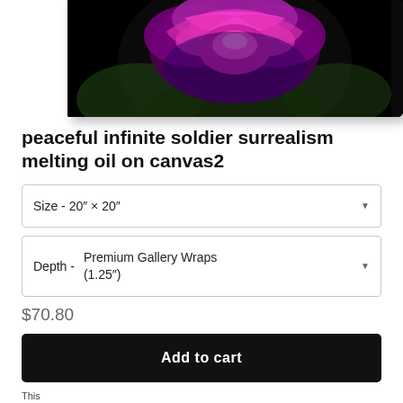[Figure (photo): Partial view of a canvas print showing a surrealistic glowing rose with purple and magenta petals on a dark black background with green foliage. The canvas is shown at an angle from bottom-right view.]
peaceful infinite soldier surrealism melting oil on canvas2
Size - 20″ × 20″
Depth - Premium Gallery Wraps (1.25″)
$70.80
Add to cart
This